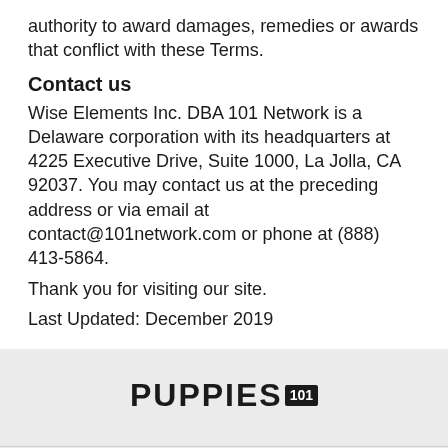authority to award damages, remedies or awards that conflict with these Terms.
Contact us
Wise Elements Inc. DBA 101 Network is a Delaware corporation with its headquarters at 4225 Executive Drive, Suite 1000, La Jolla, CA 92037. You may contact us at the preceding address or via email at contact@101network.com or phone at (888) 413-5864.
Thank you for visiting our site.
Last Updated: December 2019
[Figure (logo): PUPPIES 101 logo in bold black text with '101' in a black box]
ABOUT US
TERMS OF USE